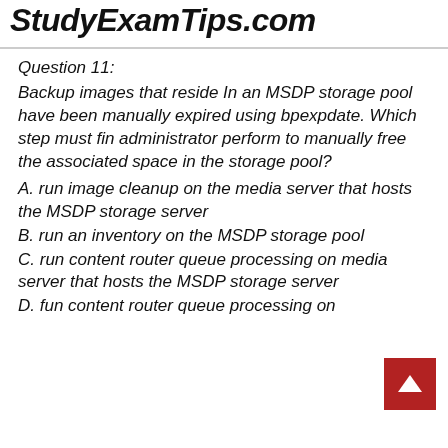StudyExamTips.com
Question 11:
Backup images that reside In an MSDP storage pool have been manually expired using bpexpdate. Which step must fin administrator perform to manually free the associated space in the storage pool?
A. run image cleanup on the media server that hosts the MSDP storage server
B. run an inventory on the MSDP storage pool
C. run content router queue processing on media server that hosts the MSDP storage server
D. fun content router queue processing on the...